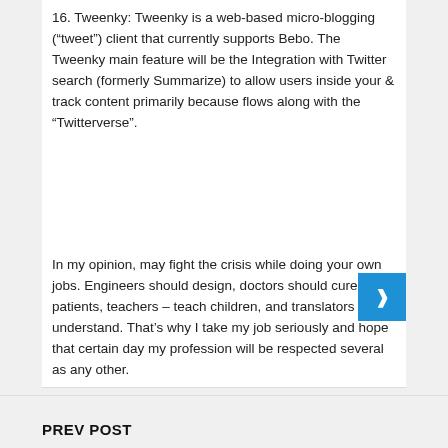16. Tweenky: Tweenky is a web-based micro-blogging (“tweet”) client that currently supports Bebo. The Tweenky main feature will be the Integration with Twitter search (formerly Summarize) to allow users inside your & track content primarily because flows along with the “Twitterverse”.
In my opinion, may fight the crisis while doing your own jobs. Engineers should design, doctors should cure patients, teachers – teach children, and translators – understand. That’s why I take my job seriously and hope that certain day my profession will be respected several as any other.
PREV POST